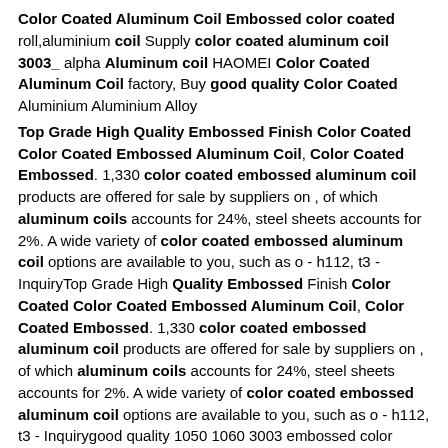Color Coated Aluminum Coil Embossed color coated roll,aluminium coil Supply color coated aluminum coil 3003_alpha Aluminum coil HAOMEI Color Coated Aluminum Coil factory, Buy good quality Color Coated Aluminium Aluminium Alloy
Top Grade High Quality Embossed Finish Color Coated Color Coated Embossed Aluminum Coil, Color Coated Embossed. 1,330 color coated embossed aluminum coil products are offered for sale by suppliers on , of which aluminum coils accounts for 24%, steel sheets accounts for 2%. A wide variety of color coated embossed aluminum coil options are available to you, such as o - h112, t3 - InquiryTop Grade High Quality Embossed Finish Color Coated Color Coated Embossed Aluminum Coil, Color Coated Embossed. 1,330 color coated embossed aluminum coil products are offered for sale by suppliers on , of which aluminum coils accounts for 24%, steel sheets accounts for 2%. A wide variety of color coated embossed aluminum coil options are available to you, such as o - h112, t3 - Inquirygood quality 1050 1060 3003 embossed color painted China Color Painted Aluminum Coil manufacturers - Select 2021 high quality Color Painted Aluminum Coil products